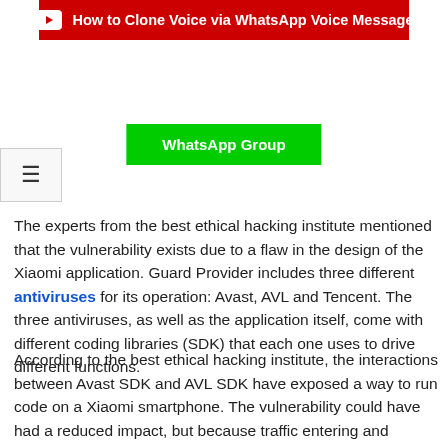[Figure (screenshot): YouTube banner button in red with play icon and text 'How to Clone Voice via WhatsApp Voice Message']
[Figure (screenshot): Green WhatsApp Group button]
[Figure (screenshot): Hamburger menu icon button]
The experts from the best ethical hacking institute mentioned that the vulnerability exists due to a flaw in the design of the Xiaomi application. Guard Provider includes three different antiviruses for its operation: Avast, AVL and Tencent. The three antiviruses, as well as the application itself, come with different coding libraries (SDK) that each one uses to drive different functions.
According to the best ethical hacking institute, the interactions between Avast SDK and AVL SDK have exposed a way to run code on a Xiaomi smartphone. The vulnerability could have had a reduced impact, but because traffic entering and leaving Xiaomi Guard Provider is not encrypted, a threat actor capable of compromising the